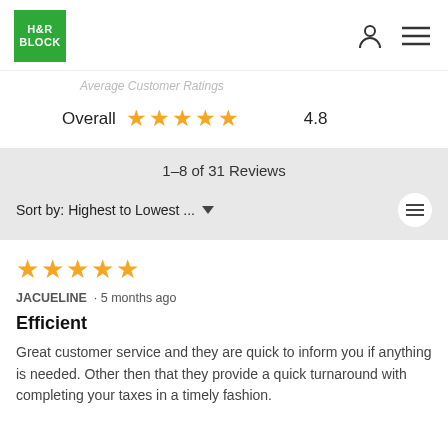[Figure (logo): H&R Block green logo]
Average Customer Ratings
Overall ★★★★★ 4.8
1–8 of 31 Reviews
Sort by: Highest to Lowest ...
★★★★★
JACUELINE · 5 months ago
Efficient
Great customer service and they are quick to inform you if anything is needed. Other then that they provide a quick turnaround with completing your taxes in a timely fashion.